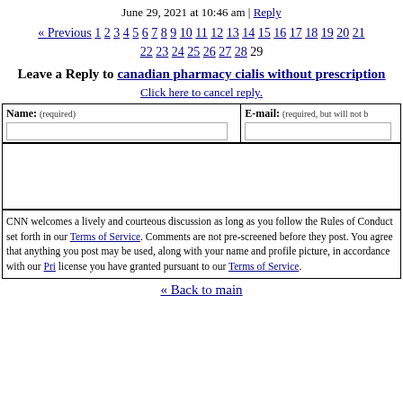June 29, 2021 at 10:46 am | Reply
« Previous 1 2 3 4 5 6 7 8 9 10 11 12 13 14 15 16 17 18 19 20 21 22 23 24 25 26 27 28 29
Leave a Reply to canadian pharmacy cialis without prescription
Click here to cancel reply.
| Name: (required) | E-mail: (required, but will not be published) |
| --- | --- |
|  |  |
CNN welcomes a lively and courteous discussion as long as you follow the Rules of Conduct set forth in our Terms of Service. Comments are not pre-screened before they post. You agree that anything you post may be used, along with your name and profile picture, in accordance with our Privacy Policy and the license you have granted pursuant to our Terms of Service.
« Back to main